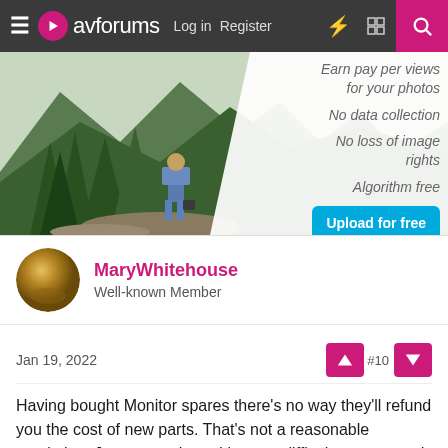avforums  Log in  Register
[Figure (photo): Advertisement banner showing a photographer standing on rocks in a mountain forest scene with text: Earn pay per views for your photos, No data collection, No loss of image rights, Algorithm free, Upload for free Now]
MaryWhitehouse
Well-known Member
Jan 19, 2022
Having bought Monitor spares there's no way they'll refund you the cost of new parts. That's not a reasonable resolution. Just return them. It's not a difficult process and your refund is guaranteed.